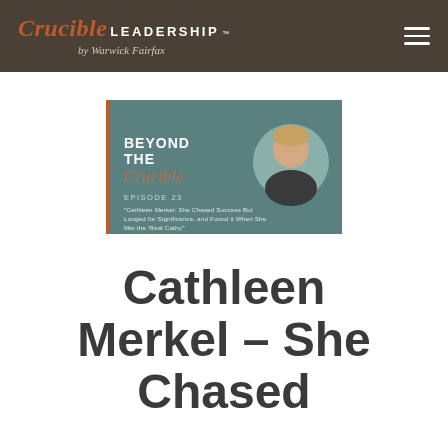Crucible LEADERSHIP™ by Warwick Fairfax
[Figure (screenshot): Podcast episode card for 'Beyond The Crucible' Episode 23: 'Cathleen Merkel: She Chased Success But Longed for Significance, and Found it When She Met the Real Cathy'. Teal/grey background with circular headshot of a blonde woman on the right.]
Cathleen Merkel – She Chased